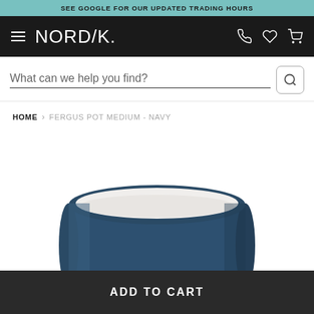SEE GOOGLE FOR OUR UPDATED TRADING HOURS
NORD/K.
What can we help you find?
HOME > FERGUS POT MEDIUM - NAVY
[Figure (photo): A navy blue cylindrical pot (Fergus Pot Medium - Navy) shown from slightly above, displaying the white interior rim at the top and the matte navy blue exterior body.]
ADD TO CART